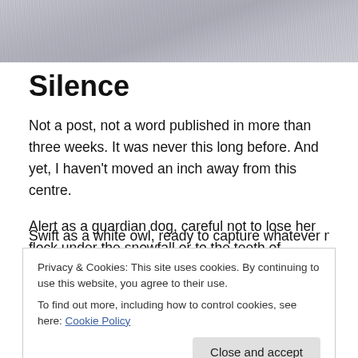[Figure (photo): Close-up photo of grey/white animal fur, likely a wolf or dog, serving as a decorative header image.]
Silence
Not a post, not a word published in more than three weeks. It was never this long before. And yet, I haven't moved an inch away from this centre.
Alert as a guardian dog, careful not to lose her flock under the snowfall or to the teeth of unwelcome hungry wolfs.
Swift as a white owl, ready to capture whatever morsel will
Privacy & Cookies: This site uses cookies. By continuing to use this website, you agree to their use.
To find out more, including how to control cookies, see here: Cookie Policy
This is a wintry silence. With an animal quality to it, and a